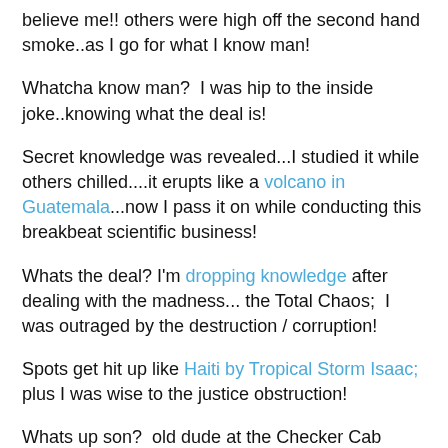believe me!! others were high off the second hand smoke..as I go for what I know man!
Whatcha know man?  I was hip to the inside joke..knowing what the deal is!
Secret knowledge was revealed...I studied it while others chilled....it erupts like a volcano in Guatemala...now I pass it on while conducting this breakbeat scientific business!
Whats the deal? I'm dropping knowledge after dealing with the madness... the Total Chaos;  I was outraged by the destruction / corruption!
Spots get hit up like Haiti by Tropical Storm Isaac; plus I was wise to the justice obstruction!
Whats up son?  old dude at the Checker Cab stand asked me... he mentioned being too heavy for light